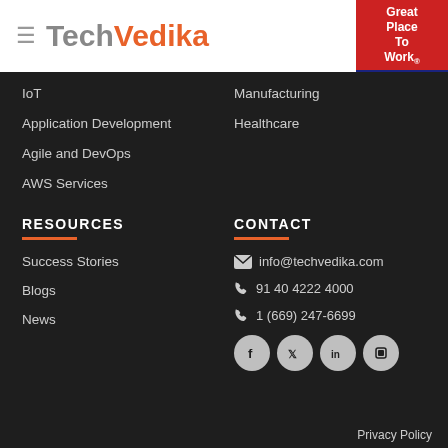[Figure (logo): TechVedika logo with hamburger menu icon. 'Tech' in gray, 'Vedika' in orange.]
[Figure (logo): Great Place To Work Certified badge, MAY 2022-MAY 2023 INDIA. Red top section, blue bottom section.]
IoT
Application Development
Agile and DevOps
AWS Services
Manufacturing
Healthcare
RESOURCES
Success Stories
Blogs
News
CONTACT
info@techvedika.com
91 40 4222 4000
1 (669) 247-6699
Privacy Policy